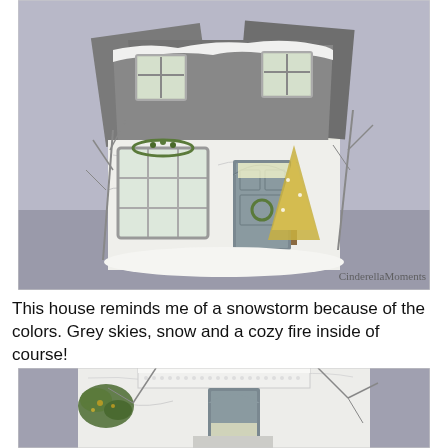[Figure (photo): A decorative miniature dollhouse painted in grey and white, styled to look like a winter snowstorm scene. The house features grey slate-style roof, white marble-like walls, multiple windows with pane details, a grey front door with wreath, golden bottlebrush Christmas tree beside door, bare twig branches, and snowy white accents. Watermark reads 'CinderellaMoments' at bottom right.]
This house reminds me of a snowstorm because of the colors. Grey skies, snow and a cozy fire inside of course!
[Figure (photo): Close-up detail shot of the same miniature dollhouse, showing the front entrance area with white ornate trim, grey door with light inside, bare twig branches, and snowy white wall texture. A decorative greenery cluster is visible on the left side.]